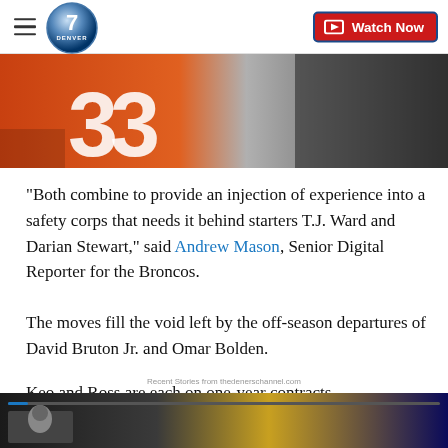Denver 7 — Watch Now
[Figure (photo): Football player wearing orange jersey with number 33, alongside another player in dark uniform, running on a green field]
"Both combine to provide an injection of experience into a safety corps that needs it behind starters T.J. Ward and Darian Stewart," said Andrew Mason, Senior Digital Reporter for the Broncos.
The moves fill the void left by the off-season departures of David Bruton Jr. and Omar Bolden.
Keo and Ross are each on one-year contracts.
Recent Stories from thedenerschannel.com
[Figure (photo): Bottom thumbnail preview of a related video story]